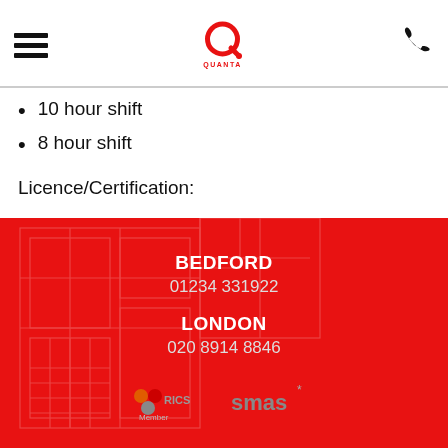Quanta — navigation header with logo and phone icon
10 hour shift
8 hour shift
Licence/Certification:
CSCS (required)
[Figure (illustration): Red footer with blueprint building outline in background. Contains BEDFORD office number 01234 331922, LONDON office number 020 8914 8846, and RICS Member and SMAS logos.]